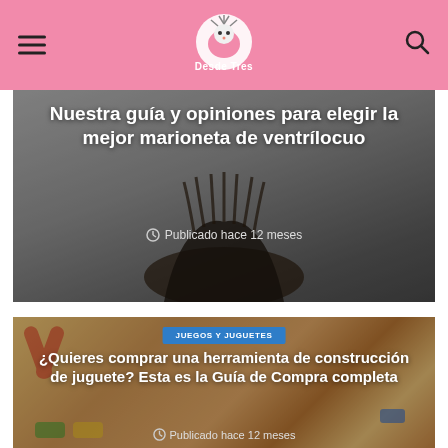Desde Tres - site header with menu and search
[Figure (photo): Article card with gray background showing a puppet/ventriloquist figure silhouette. Title overlay: Nuestra guía y opiniones para elegir la mejor marioneta de ventrílocuo. Meta: Publicado hace 12 meses]
Nuestra guía y opiniones para elegir la mejor marioneta de ventrílocuo
🕐 Publicado hace 12 meses
[Figure (photo): Article card with wooden toy tools background. Badge: JUEGOS Y JUGUETES. Title overlay: ¿Quieres comprar una herramienta de construcción de juguete? Esta es la Guía de Compra completa. Meta: Publicado hace 12 meses]
¿Quieres comprar una herramienta de construcción de juguete? Esta es la Guía de Compra completa
🕐 Publicado hace 12 meses